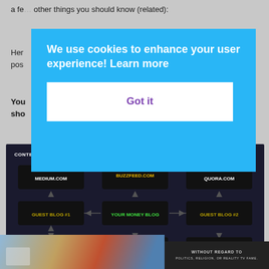a few other things you should know (related):
Her pos
You sho
[Figure (infographic): Content Marketing Strategy For Blog Traffic infographic showing a flow diagram with nodes: MEDIUM.COM, BUZZFEED.COM, QUORA.COM, GUEST BLOG #1, YOUR MONEY BLOG, GUEST BLOG #2, LINKEDIN.COM, INBOUND.ORG, BLOGLOVIN.COM with arrows pointing toward YOUR MONEY BLOG]
[Figure (photo): Advertisement banner with airplane photo and dark panel with text WITHOUT REGARD TO]
We use cookies to enhance your user experience!  Learn more
Got it